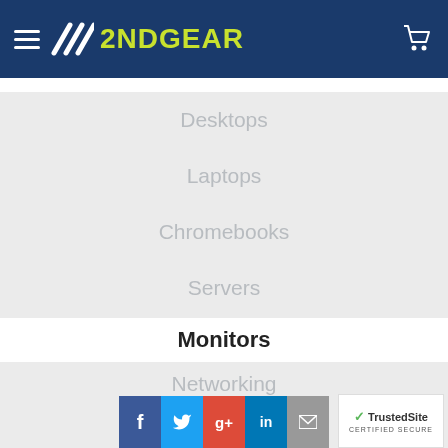2NDGEAR
Desktops
Laptops
Chromebooks
Servers
Monitors
Networking
Tablets
[Figure (screenshot): Social media buttons: Facebook, Twitter, Google+, LinkedIn, Email]
[Figure (logo): TrustedSite Certified Secure badge]